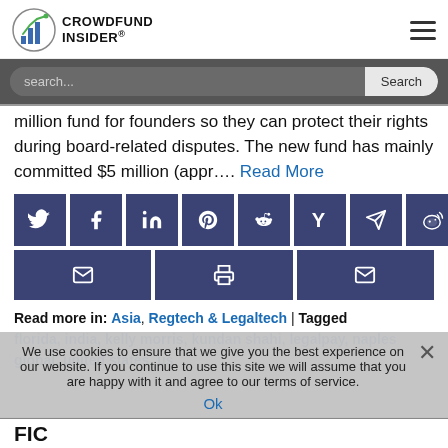CROWDFUND INSIDER
million fund for founders so they can protect their rights during board-related disputes. The new fund has mainly committed $5 million (appr.... Read More
[Figure (infographic): Social media share buttons: Twitter, Facebook, LinkedIn, Pinterest, Reddit, Hacker News, Telegram, Weibo, Email, Print, Email]
Read more in: Asia, Regtech & Legaltech | Tagged florida, india, kelly morris, kundan shahi, legalpay, naples global, united states, us
We use cookies to ensure that we give you the best experience on our website. If you continue to use this site we will assume that you are happy with it and agree to our terms of service.
Ok